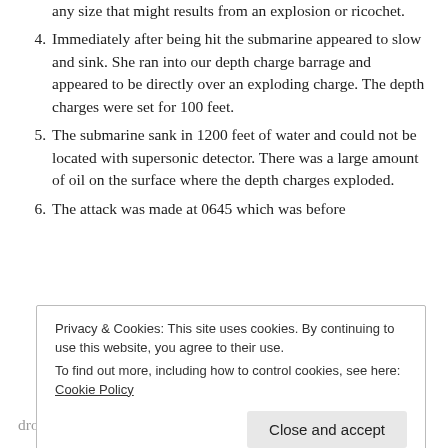any size that might results from an explosion or ricochet.
4. Immediately after being hit the submarine appeared to slow and sink. She ran into our depth charge barrage and appeared to be directly over an exploding charge. The depth charges were set for 100 feet.
5. The submarine sank in 1200 feet of water and could not be located with supersonic detector. There was a large amount of oil on the surface where the depth charges exploded.
6. The attack was made at 0645 which was before
Privacy & Cookies: This site uses cookies. By continuing to use this website, you agree to their use. To find out more, including how to control cookies, see here: Cookie Policy
Close and accept
dropped depth charges on a submarine operating in